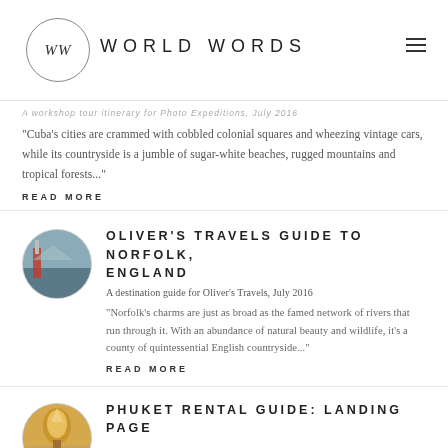WW  WORLD WORDS
A workshop tour itinerary for Photo Expeditions, July 2016
"Cuba's cities are crammed with cobbled colonial squares and wheezing vintage cars, while its countryside is a jumble of sugar-white beaches, rugged mountains and tropical forests..."
READ MORE
OLIVER'S TRAVELS GUIDE TO NORFOLK, ENGLAND
A destination guide for Oliver's Travels, July 2016
"Norfolk's charms are just as broad as the famed network of rivers that run through it. With an abundance of natural beauty and wildlife, it's a county of quintessential English countryside..."
READ MORE
PHUKET RENTAL GUIDE: LANDING PAGE